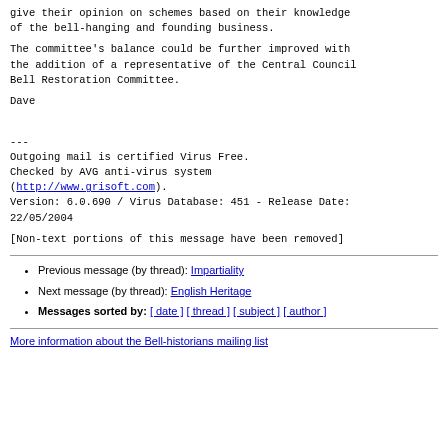give their opinion on schemes based on their knowledge
of the bell-hanging and founding business.
The committee's balance could be further improved with
the addition of a representative of the Central Council
Bell Restoration Committee.
Dave
---
Outgoing mail is certified Virus Free.
Checked by AVG anti-virus system
(http://www.grisoft.com).
Version: 6.0.690 / Virus Database: 451 - Release Date:
22/05/2004
[Non-text portions of this message have been removed]
Previous message (by thread): Impartiality
Next message (by thread): English Heritage
Messages sorted by: [ date ] [ thread ] [ subject ] [ author ]
More information about the Bell-historians mailing list